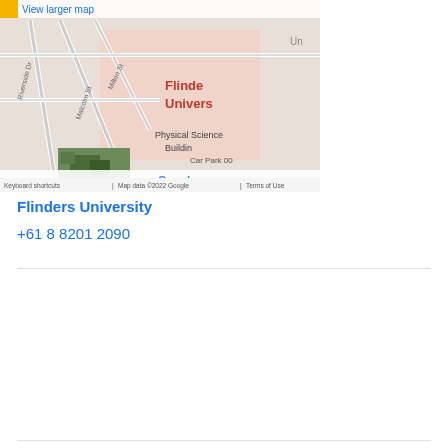[Figure (map): Google Maps screenshot showing Flinders University area with Physical Sciences Building, street names (Riverside Dr, Malcolm St, Milton St), and a small satellite photo inset. Shows 'View larger map' link at top, Google logo, and map attribution 'Keyboard shortcuts | Map data ©2022 Google | Terms of Use'.]
Flinders University
+61 8 8201 2090